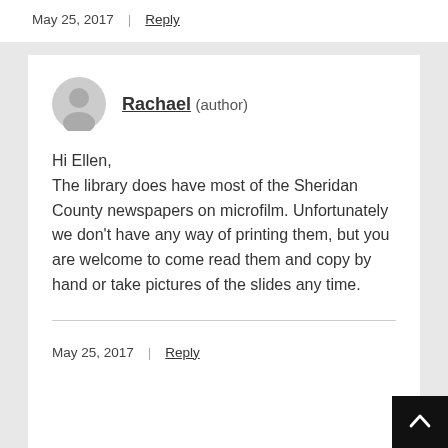May 25, 2017 | Reply
Rachael (author)
Hi Ellen,
The library does have most of the Sheridan County newspapers on microfilm. Unfortunately we don’t have any way of printing them, but you are welcome to come read them and copy by hand or take pictures of the slides any time.
May 25, 2017 | Reply